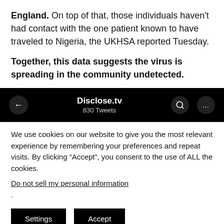England. On top of that, those individuals haven't had contact with the one patient known to have traveled to Nigeria, the UKHSA reported Tuesday.
Together, this data suggests the virus is spreading in the community undetected.
[Figure (screenshot): Twitter/X app header bar showing 'Disclose.tv' account with '830 Tweets', with back arrow, search icon, and more options (…) button on black background.]
We use cookies on our website to give you the most relevant experience by remembering your preferences and repeat visits. By clicking "Accept", you consent to the use of ALL the cookies.
Do not sell my personal information.
Settings   Accept